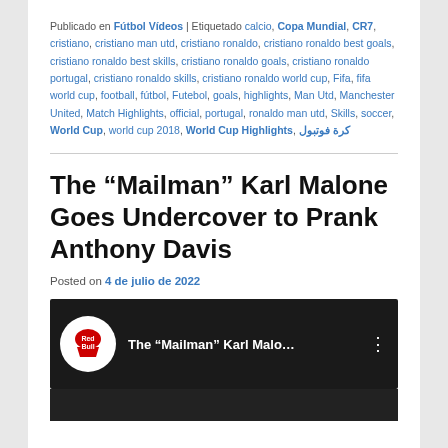Publicado en Fútbol Vídeos | Etiquetado calcio, Copa Mundial, CR7, cristiano, cristiano man utd, cristiano ronaldo, cristiano ronaldo best goals, cristiano ronaldo best skills, cristiano ronaldo goals, cristiano ronaldo portugal, cristiano ronaldo skills, cristiano ronaldo world cup, Fifa, fifa world cup, football, fútbol, Futebol, goals, highlights, Man Utd, Manchester United, Match Highlights, official, portugal, ronaldo man utd, Skills, soccer, World Cup, world cup 2018, World Cup Highlights, كرة فوتبول
The “Mailman” Karl Malone Goes Undercover to Prank Anthony Davis
Posted on 4 de julio de 2022
[Figure (screenshot): Red Bull YouTube video thumbnail showing 'The "Mailman" Karl Malo...' title with Red Bull logo and three-dot menu icon on dark background]